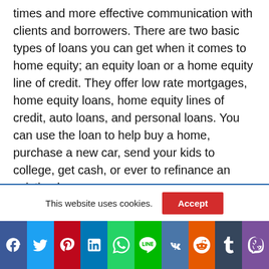times and more effective communication with clients and borrowers. There are two basic types of loans you can get when it comes to home equity; an equity loan or a home equity line of credit. They offer low rate mortgages, home equity loans, home equity lines of credit, auto loans, and personal loans. You can use the loan to help buy a home, purchase a new car, send your kids to college, get cash, or ever to refinance an existing loan.

Those of you not familiar with the latest on simple
This website uses cookies.
Accept